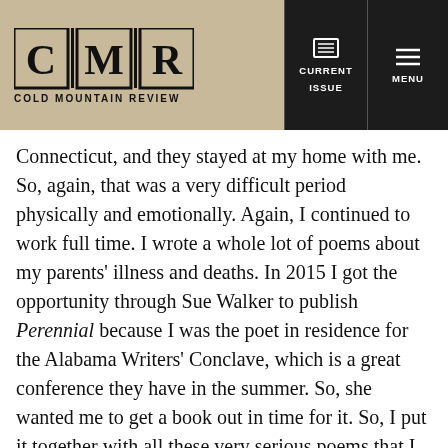Cold Mountain Review — CURRENT ISSUE | MENU
Connecticut, and they stayed at my home with me. So, again, that was a very difficult period physically and emotionally. Again, I continued to work full time. I wrote a whole lot of poems about my parents' illness and deaths. In 2015 I got the opportunity through Sue Walker to publish Perennial because I was the poet in residence for the Alabama Writers' Conclave, which is a great conference they have in the summer. So, she wanted me to get a book out in time for it. So, I put it together with all these very serious poems that I had. So, most of those are about the perennial problems of poverty, prejudice, persecution.
Now that I'm dealing with aging I'm trying to write lighter and funnier poems, which I find very difficult to do [laughs]. However, right now what I'm trying to concentrate on is to write poems of witness about what's going on in the world